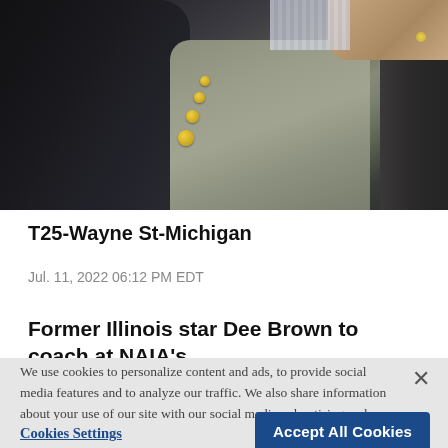[Figure (photo): Close-up photo of people in dark suits with gold buttons visible, partial view of figures seated]
T25-Wayne St-Michigan
Jul. 11, 2022 06:12 PM EDT
Former Illinois star Dee Brown to coach at NAIA's
We use cookies to personalize content and ads, to provide social media features and to analyze our traffic. We also share information about your use of our site with our social media, advertising and analytics partners. Privacy Policy
Cookies Settings
Accept All Cookies